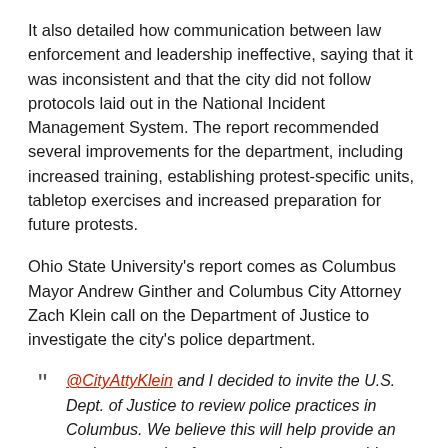It also detailed how communication between law enforcement and leadership ineffective, saying that it was inconsistent and that the city did not follow protocols laid out in the National Incident Management System. The report recommended several improvements for the department, including increased training, establishing protest-specific units, tabletop exercises and increased preparation for future protests.
Ohio State University's report comes as Columbus Mayor Andrew Ginther and Columbus City Attorney Zach Klein call on the Department of Justice to investigate the city's police department.
" @CityAttyKlein and I decided to invite the U.S. Dept. of Justice to review police practices in Columbus. We believe this will help provide an environment that fosters trust between residents and police – and will ultimately lead to a [continues]